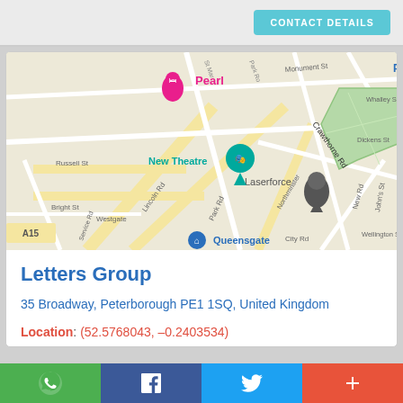CONTACT DETAILS
[Figure (map): Google Maps view showing Peterborough city centre area with streets including Crawthorne Rd, Monument St, Russell St, Lincoln Rd, Park Rd, Northminster, City Rd, Wellington St, New Rd, Bright St, Westgate. Shows markers for Pearl (hotel), New Theatre, Laserforce, and Queensgate. A green park area is visible near Laserforce.]
Letters Group
35 Broadway, Peterborough PE1 1SQ, United Kingdom
Location: (52.5768043, –0.2403534)